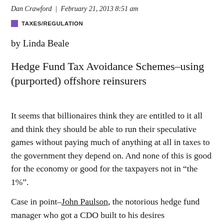Dan Crawford  |  February 21, 2013 8:51 am
TAXES/REGULATION
by Linda Beale
Hedge Fund Tax Avoidance Schemes–using (purported) offshore reinsurers
It seems that billionaires think they are entitled to it all and think they should be able to run their speculative games without paying much of anything at all in taxes to the government they depend on. And none of this is good for the economy or good for the taxpayers not in “the 1%”.
Case in point–John Paulson, the notorious hedge fund manager who got a CDO built to his desires...